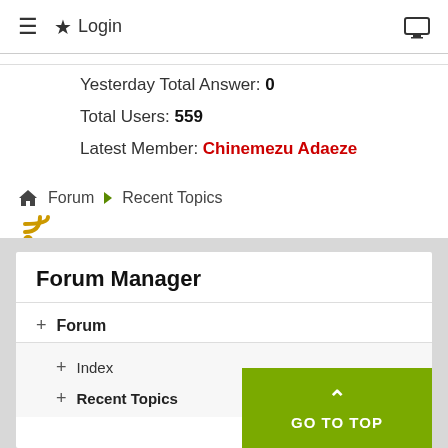≡ ★ Login  🖥
Yesterday Total Answer: 0
Total Users: 559
Latest Member: Chinemezu Adaeze
Forum ▶ Recent Topics
Time to create page: 0.148 seconds
Powered by Kunena Forum
Forum Manager
+ Forum
+ Index
+ Recent Topics